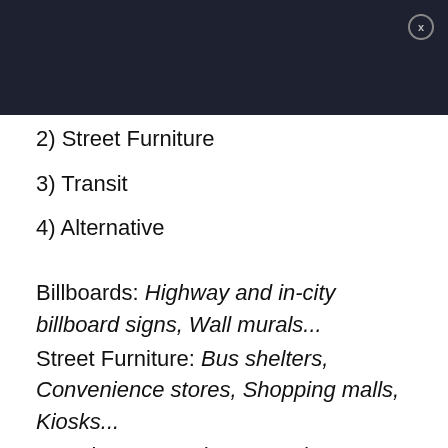2) Street Furniture
3) Transit
4) Alternative
Billboards: Highway and in-city billboard signs, Wall murals...
Street Furniture: Bus shelters, Convenience stores, Shopping malls, Kiosks...
Transit: Buses, Airports, Subway & Rail, Trucksides, Taxi displays, Wrapped vehicles...